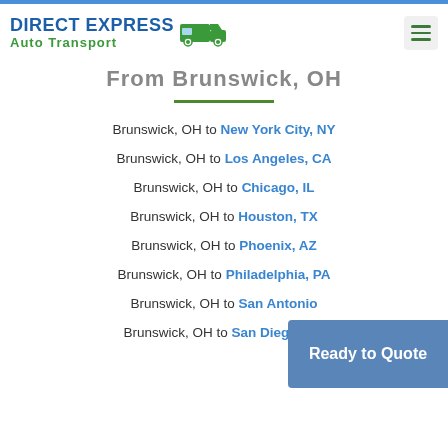DIRECT EXPRESS Auto Transport
From Brunswick, OH
Brunswick, OH to New York City, NY
Brunswick, OH to Los Angeles, CA
Brunswick, OH to Chicago, IL
Brunswick, OH to Houston, TX
Brunswick, OH to Phoenix, AZ
Brunswick, OH to Philadelphia, PA
Brunswick, OH to San Antonio
Brunswick, OH to San Diego, CA